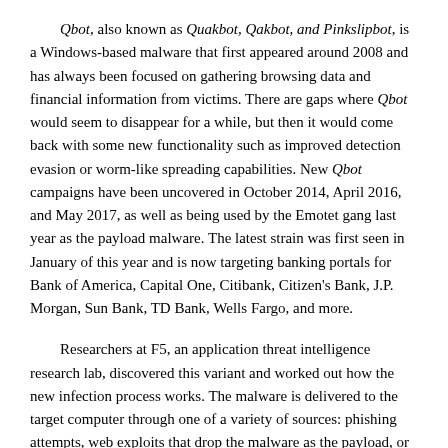Qbot, also known as Quakbot, Qakbot, and Pinkslipbot, is a Windows-based malware that first appeared around 2008 and has always been focused on gathering browsing data and financial information from victims. There are gaps where Qbot would seem to disappear for a while, but then it would come back with some new functionality such as improved detection evasion or worm-like spreading capabilities. New Qbot campaigns have been uncovered in October 2014, April 2016, and May 2017, as well as being used by the Emotet gang last year as the payload malware. The latest strain was first seen in January of this year and is now targeting banking portals for Bank of America, Capital One, Citibank, Citizen's Bank, J.P. Morgan, Sun Bank, TD Bank, Wells Fargo, and more.
Researchers at F5, an application threat intelligence research lab, discovered this variant and worked out how the new infection process works. The malware is delivered to the target computer through one of a variety of sources: phishing attempts, web exploits that drop the malware as the payload, or through malicious file sharing activities. Once the malware is on the system, the executable loads Qbot into the running explorer.exe application. Next, the malware copies itself into the application folder's default location and the registry key HKCU\Software\Microsoft\Windows\CurrentVersion\Run so that it will run up-on system reboots. Qbot then creates a .dat file with system